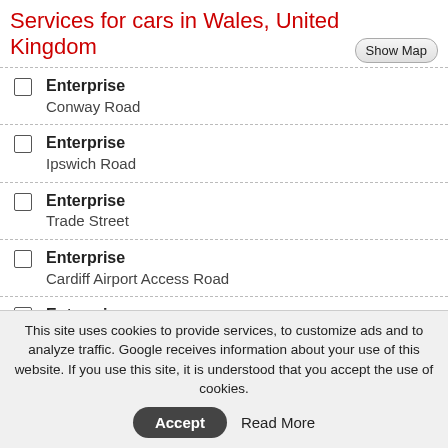Services for cars in Wales, United Kingdom
Enterprise
Conway Road
Enterprise
Ipswich Road
Enterprise
Trade Street
Enterprise
Cardiff Airport Access Road
Enterprise
Enterprise
Llanfrechfa Way NP44 8HT Cwmbran
Phone: +44 1633 874568
This site uses cookies to provide services, to customize ads and to analyze traffic. Google receives information about your use of this website. If you use this site, it is understood that you accept the use of cookies.